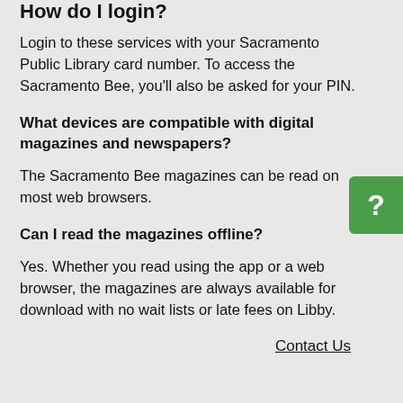How do I login?
Login to these services with your Sacramento Public Library card number. To access the Sacramento Bee, you’ll also be asked for your PIN.
What devices are compatible with digital magazines and newspapers?
The Sacramento Bee magazines can be read on most web browsers.
Can I read the magazines offline?
Yes. Whether you read using the app or a web browser, the magazines are always available for download with no wait lists or late fees on Libby.
Contact Us